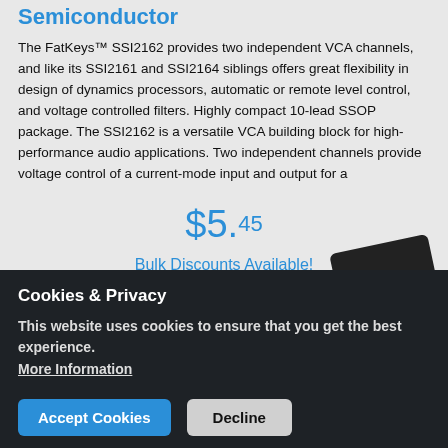Semiconductor
The FatKeys™ SSI2162 provides two independent VCA channels, and like its SSI2161 and SSI2164 siblings offers great flexibility in design of dynamics processors, automatic or remote level control, and voltage controlled filters. Highly compact 10-lead SSOP package. The SSI2162 is a versatile VCA building block for high-performance audio applications. Two independent channels provide voltage control of a current-mode input and output for a
$5.45
Bulk Discounts Available!
Qty: * 1
+ Add to cart
Cookies & Privacy
This website uses cookies to ensure that you get the best experience. More Information
Accept Cookies  Decline